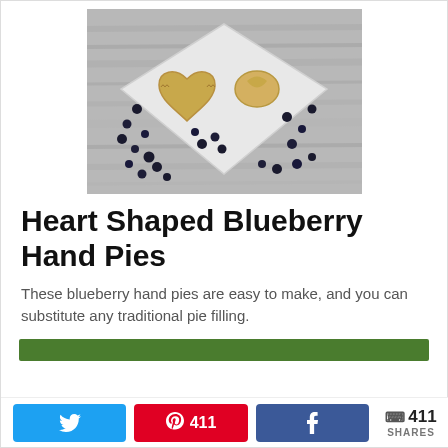[Figure (photo): Overhead photo of heart-shaped blueberry hand pies on a white square plate, with blueberries scattered on a weathered wood background, in black and white]
Heart Shaped Blueberry Hand Pies
These blueberry hand pies are easy to make, and you can substitute any traditional pie filling.
[Figure (other): Green bar / call-to-action button area]
411 SHARES